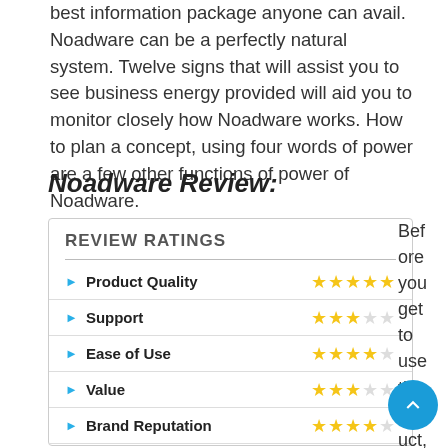best information package anyone can avail. Noadware can be a perfectly natural system. Twelve signs that will assist you to see business energy provided will aid you to monitor closely how Noadware works. How to plan a concept, using four words of power are a few other functions of power of Noadware.
Noadware Review:
| Category | Rating |
| --- | --- |
| Product Quality | 5 stars |
| Support | 3 stars |
| Ease of Use | 4 stars |
| Value | 3 stars |
| Brand Reputation | 4 stars |
| Overall Rating | 5 stars |
Before you get to use the product, Noadware is